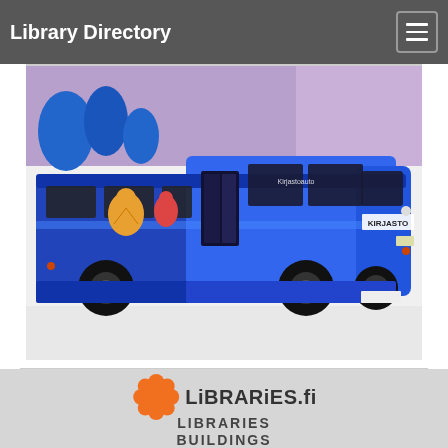Library Directory
[Figure (photo): A large blue library bus (bookmobile) with colorful cartoon graphics on its side and the word KIRJASTO on the rear, photographed against a white background.]
[Figure (logo): Libraries.fi logo — orange snowflake/flower icon next to the text 'LiBRARiES.fi' in bold dark lettering]
LIBRARIES
BUILDINGS